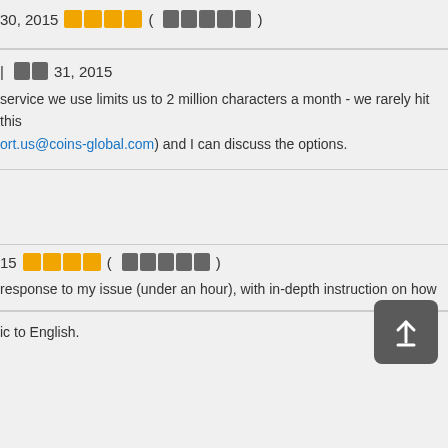30, 2015 ★★★★ (?????)
| ?? 31, 2015
service we use limits us to 2 million characters a month - we rarely hit this ort.us@coins-global.com) and I can discuss the options.
[Figure (other): Scroll to top button with upward arrow icon]
15 ★★★★ (?????)
response to my issue (under an hour), with in-depth instruction on how
ic to English.